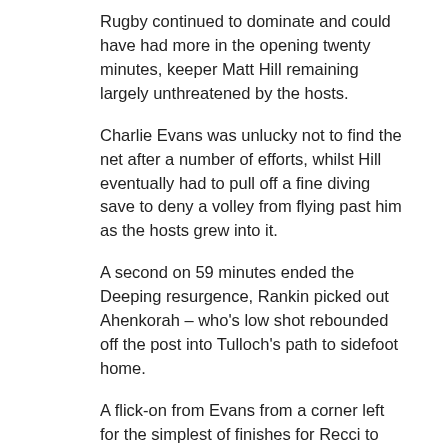Rugby continued to dominate and could have had more in the opening twenty minutes, keeper Matt Hill remaining largely unthreatened by the hosts.
Charlie Evans was unlucky not to find the net after a number of efforts, whilst Hill eventually had to pull off a fine diving save to deny a volley from flying past him as the hosts grew into it.
A second on 59 minutes ended the Deeping resurgence, Rankin picked out Ahenkorah – who's low shot rebounded off the post into Tulloch's path to sidefoot home.
A flick-on from Evans from a corner left for the simplest of finishes for Recci to kill off the game and seal the points.
Looking ahead to Saturday's visit to Wellingborough, the hosts sit on just eight points after 28 matches played – winning just twice in that time with a minus goal difference of 103.
Losing their last six out of seven matches by four goals or